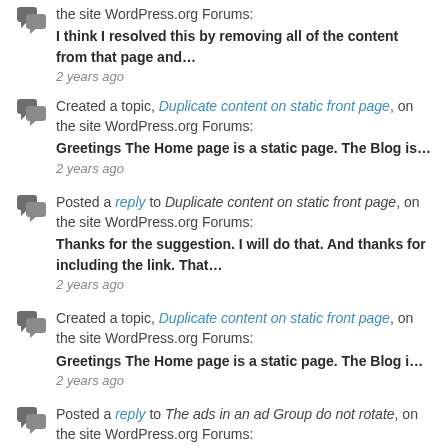the site WordPress.org Forums: I think I resolved this by removing all of the content from that page and… 2 years ago
Created a topic, Duplicate content on static front page, on the site WordPress.org Forums: Greetings The Home page is a static page. The Blog is… 2 years ago
Posted a reply to Duplicate content on static front page, on the site WordPress.org Forums: Thanks for the suggestion. I will do that. And thanks for including the link. That… 2 years ago
Created a topic, Duplicate content on static front page, on the site WordPress.org Forums: Greetings The Home page is a static page. The Blog i… 2 years ago
Posted a reply to The ads in an ad Group do not rotate, on the site WordPress.org Forums: thank you so much Thomas. That was the sort of